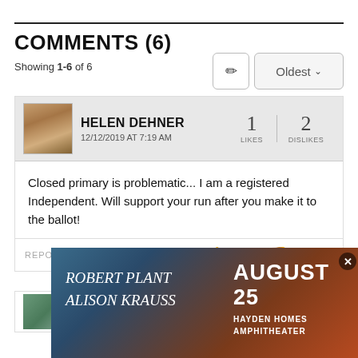COMMENTS (6)
Showing 1-6 of 6
HELEN DEHNER
12/12/2019 AT 7:19 AM
1 LIKES  2 DISLIKES
Closed primary is problematic... I am a registered Independent. Will support your run after you make it to the ballot!
REPORT   LIKE   DISLIKE
MAGGIE MAE  0  0
[Figure (screenshot): Advertisement banner: Robert Plant Alison Krauss concert, August 25, Hayden Homes Amphitheater]